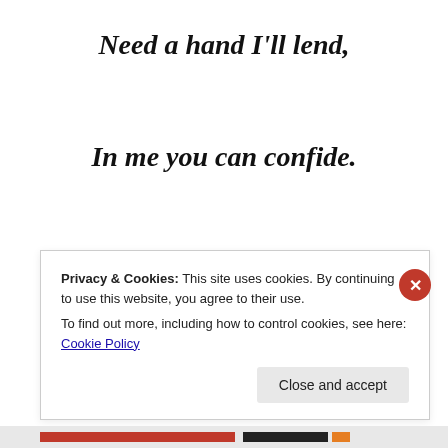Need a hand I'll lend,
In me you can confide.
For what we share is true,
Only you hold my heart.
Privacy & Cookies: This site uses cookies. By continuing to use this website, you agree to their use. To find out more, including how to control cookies, see here: Cookie Policy